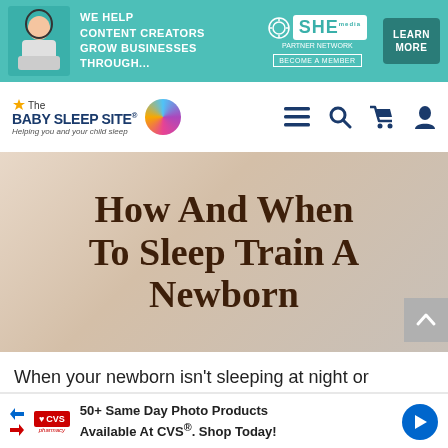[Figure (other): Advertisement banner: teal background with woman at laptop, SHE Media Partner Network logo, 'WE HELP CONTENT CREATORS GROW BUSINESSES THROUGH...' text, 'LEARN MORE' button]
[Figure (logo): The Baby Sleep Site logo with sun icon, colorful orb, and tagline 'Helping you and your child sleep']
[Figure (other): Navigation bar icons: hamburger menu, search, cart, user profile]
[Figure (illustration): Hero article image with text 'How And When To Sleep Train A Newborn' on a beige/cream gradient background with scroll-to-top button]
When your newborn isn't sleeping at night or napping during the day, the entire family is
[Figure (other): CVS Pharmacy advertisement: '50+ Same Day Photo Products Available At CVS®. Shop Today!']